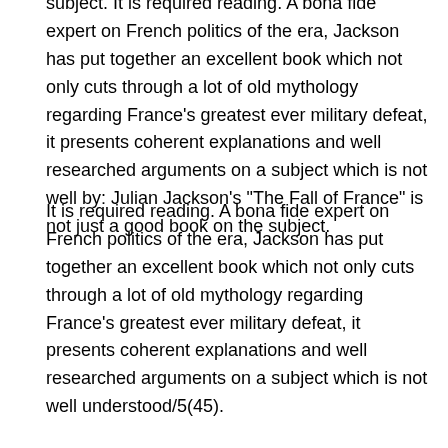subject. It is required reading. A bona fide expert on French politics of the era, Jackson has put together an excellent book which not only cuts through a lot of old mythology regarding France's greatest ever military defeat, it presents coherent explanations and well researched arguments on a subject which is not well by: Julian Jackson's "The Fall of France" is not just a good book on the subject.
It is required reading. A bona fide expert on French politics of the era, Jackson has put together an excellent book which not only cuts through a lot of old mythology regarding France's greatest ever military defeat, it presents coherent explanations and well researched arguments on a subject which is not well understood/5(45).
First published inthis is an account of the events before and during the early part of WW2 leading up to the fall of France in mid The writing is very impressive, but more than well chosen illustrations are the high point of this book.
Poor proof reading is evident in a couple of places, but the overall impression is very good.4/5. This book takes a fresh view of the circumstances behind the apparently inevitable victory of the Germans